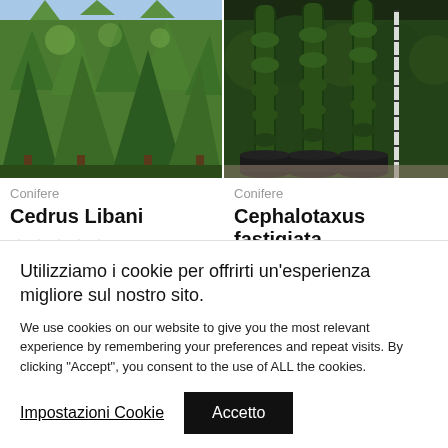[Figure (photo): Photo of Cedrus Libani conifer trees, green dense foliage outdoor]
[Figure (photo): Photo of Cephalotaxus fastigiata conifer trees in black pots with a measuring stick]
Conifere
Cedrus Libani
☆☆☆☆☆
Conifere
Cephalotaxus fastigiata
☆☆☆☆☆
Utilizziamo i cookie per offrirti un'esperienza migliore sul nostro sito.
We use cookies on our website to give you the most relevant experience by remembering your preferences and repeat visits. By clicking “Accept”, you consent to the use of ALL the cookies.
Impostazioni Cookie
Accetto